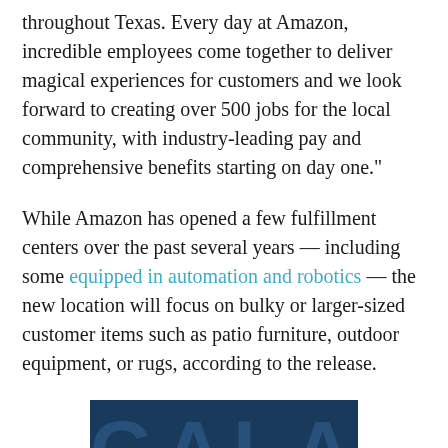throughout Texas. Every day at Amazon, incredible employees come together to deliver magical experiences for customers and we look forward to creating over 500 jobs for the local community, with industry-leading pay and comprehensive benefits starting on day one."
While Amazon has opened a few fulfillment centers over the past several years — including some equipped in automation and robotics — the new location will focus on bulky or larger-sized customer items such as patio furniture, outdoor equipment, or rugs, according to the release.
[Figure (other): Partial banner image with dark navy/teal background showing large letters 'G A L A' and text '65TH ANNIVERSARY' at the bottom]